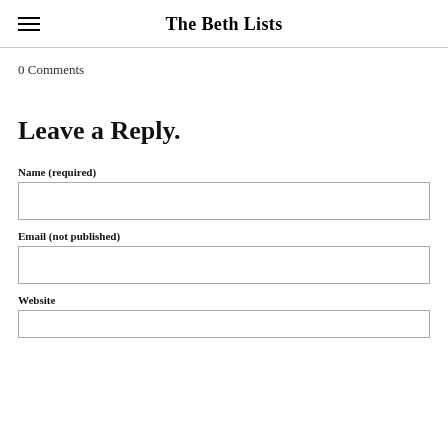The Beth Lists
0 Comments
Leave a Reply.
Name (required)
Email (not published)
Website